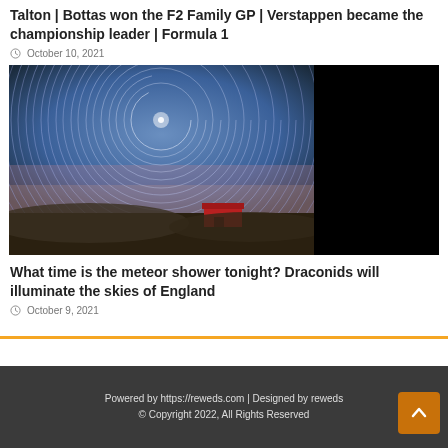Talton | Bottas won the F2 Family GP | Verstappen became the championship leader | Formula 1
October 10, 2021
[Figure (photo): Star trail long-exposure night sky photograph over a landscape with a red building, partially covered by a black panel on the right side]
What time is the meteor shower tonight? Draconids will illuminate the skies of England
October 9, 2021
Powered by https://reweds.com | Designed by reweds © Copyright 2022, All Rights Reserved